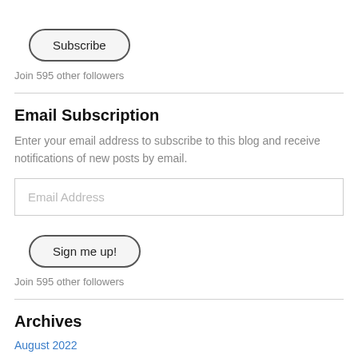Subscribe
Join 595 other followers
Email Subscription
Enter your email address to subscribe to this blog and receive notifications of new posts by email.
Email Address
Sign me up!
Join 595 other followers
Archives
August 2022